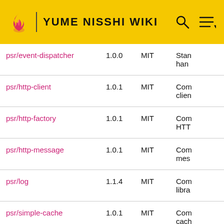YUME NISSHI WIKI
| Package | Version | License | Description |
| --- | --- | --- | --- |
| psr/event-dispatcher | 1.0.0 | MIT | Stan han |
| psr/http-client | 1.0.1 | MIT | Com clien |
| psr/http-factory | 1.0.1 | MIT | Com HTT |
| psr/http-message | 1.0.1 | MIT | Com mes |
| psr/log | 1.1.4 | MIT | Com libra |
| psr/simple-cache | 1.0.1 | MIT | Com cach |
| ralouphie/getallheaders | 3.0.3 | MIT | A po |